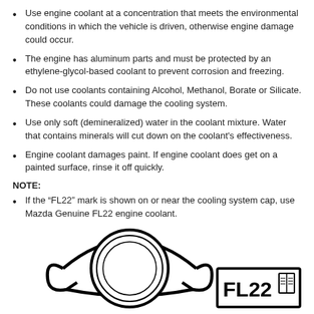Use engine coolant at a concentration that meets the environmental conditions in which the vehicle is driven, otherwise engine damage could occur.
The engine has aluminum parts and must be protected by an ethylene-glycol-based coolant to prevent corrosion and freezing.
Do not use coolants containing Alcohol, Methanol, Borate or Silicate. These coolants could damage the cooling system.
Use only soft (demineralized) water in the coolant mixture. Water that contains minerals will cut down on the coolant's effectiveness.
Engine coolant damages paint. If engine coolant does get on a painted surface, rinse it off quickly.
NOTE:
If the “FL22” mark is shown on or near the cooling system cap, use Mazda Genuine FL22 engine coolant.
[Figure (illustration): Line drawing of a cooling system cap (radiator cap) with a rounded top and ear-shaped handles on the sides, shown from above. To the bottom right is a rectangular label reading 'FL22' with a book/manual icon.]